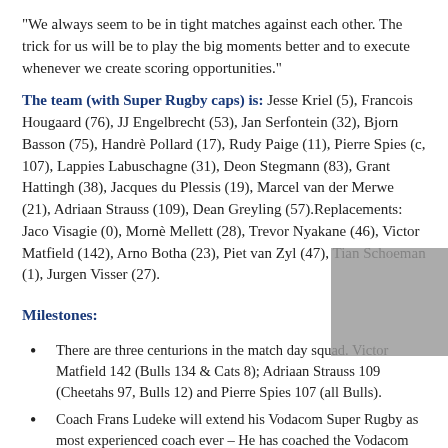“We always seem to be in tight matches against each other. The trick for us will be to play the big moments better and to execute whenever we create scoring opportunities.”
The team (with Super Rugby caps) is: Jesse Kriel (5), Francois Hougaard (76), JJ Engelbrecht (53), Jan Serfontein (32), Bjorn Basson (75), Handrè Pollard (17), Rudy Paige (11), Pierre Spies (c, 107), Lappies Labuschagne (31), Deon Stegmann (83), Grant Hattingh (38), Jacques du Plessis (19), Marcel van der Merwe (21), Adriaan Strauss (109), Dean Greyling (57).Replacements: Jaco Visagie (0), Mornè Mellett (28), Trevor Nyakane (46), Victor Matfield (142), Arno Botha (23), Piet van Zyl (47), Tian Schoeman (1), Jurgen Visser (27).
Milestones:
There are three centurions in the match day squad. Victor Matfield 142 (Bulls 134 & Cats 8); Adriaan Strauss 109 (Cheetahs 97, Bulls 12) and Pierre Spies 107 (all Bulls).
Coach Frans Ludeke will extend his Vodacom Super Rugby as most experienced coach ever – He has coached the Vodacom Bulls in 113 matches and the Cats in 24 for a tally